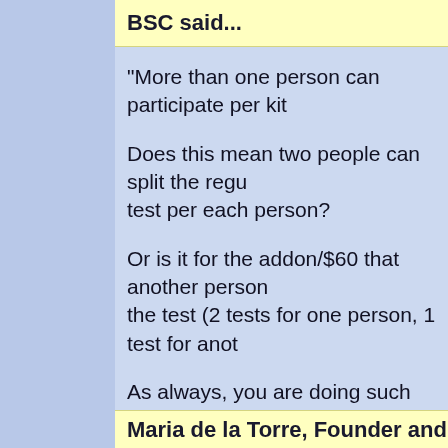BSC said...
"More than one person can participate per kit

Does this mean two people can split the regular test per each person?

Or is it for the addon/$60 that another person can take the test (2 tests for one person, 1 test for another)?

As always, you are doing such AMAZING work! Thank you! Thank you! Thank you!
Dec 4, 2010, 2:25:00 PM
Maria de la Torre, Founder and Executive Dire